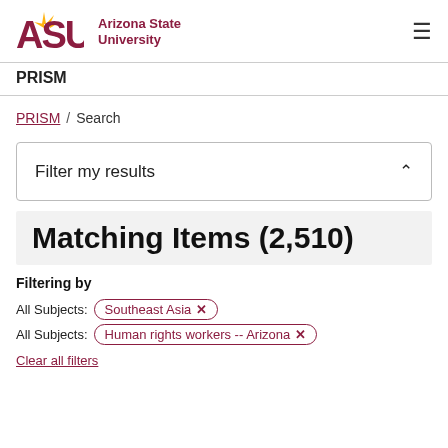[Figure (logo): Arizona State University ASU logo with sunburst and maroon text]
PRISM
PRISM / Search
Filter my results
Matching Items (2,510)
Filtering by
All Subjects: Southeast Asia ×
All Subjects: Human rights workers -- Arizona ×
Clear all filters